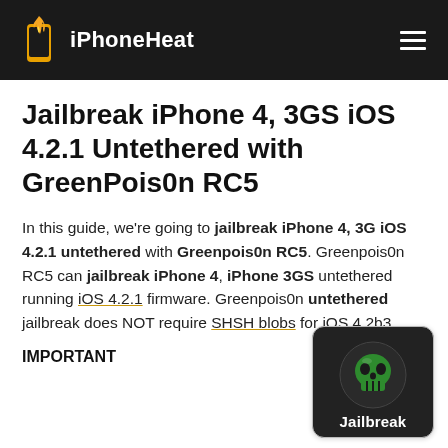iPhoneHeat
Jailbreak iPhone 4, 3GS iOS 4.2.1 Untethered with GreenPois0n RC5
In this guide, we're going to jailbreak iPhone 4, 3G iOS 4.2.1 untethered with Greenpois0n RC5. Greenpois0n RC5 can jailbreak iPhone 4, iPhone 3GS untethered running iOS 4.2.1 firmware. Greenpois0n untethered jailbreak does NOT require SHSH blobs for iOS 4.2b3.
IMPORTANT
[Figure (screenshot): Greenpois0n Jailbreak app icon thumbnail showing a green skull logo on dark background with Jailbreak label]